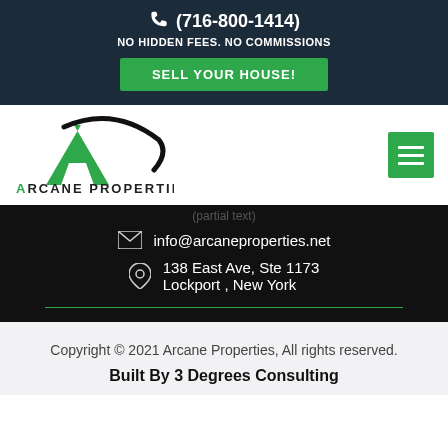(716-800-1414) NO HIDDEN FEES. NO COMMISSIONS SELL YOUR HOUSE!
[Figure (logo): Arcane Properties logo with green A shape and black swoosh, text reading ARCANE PROPERTIES]
info@arcaneproperties.net
138 East Ave, Ste 1173 Lockport , New York
Copyright © 2021 Arcane Properties, All rights reserved. Built By 3 Degrees Consulting